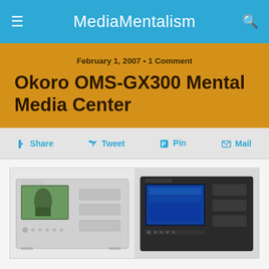MediaMentalism
February 1, 2007 • 1 Comment
Okoro OMS-GX300 Mental Media Center
Share  Tweet  Pin  Mail
[Figure (photo): Two Okoro OMS-GX300 media center units side by side — a silver/white unit on the left and a black unit on the right, both featuring front-panel displays.]
Okoro have released what must be the most extreme media center yet, based on the Okoro OMS-GX300